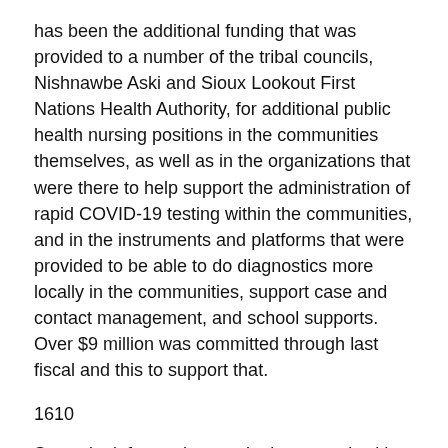has been the additional funding that was provided to a number of the tribal councils, Nishnawbe Aski and Sioux Lookout First Nations Health Authority, for additional public health nursing positions in the communities themselves, as well as in the organizations that were there to help support the administration of rapid COVID-19 testing within the communities, and in the instruments and platforms that were provided to be able to do diagnostics more locally in the communities, support case and contact management, and school supports. Over $9 million was committed through last fiscal and this to support that.
1610
So we look forward to continuing to work with partners around blending those services and those supports—as the minister referenced earlier, those supports on the ground with respect to the administration of vaccines through Operation Remote Immunity initially and through the partnership between the health units known as SLFNHA